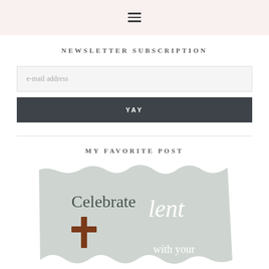≡ (hamburger menu icon)
NEWSLETTER SUBSCRIPTION
e-mail address
YAY
MY FAVORITE POST
[Figure (illustration): A decorative card with torn paper edge effect in muted sage/gray color. Text reads 'Celebrate lent with your' and shows a brown Christian cross symbol.]